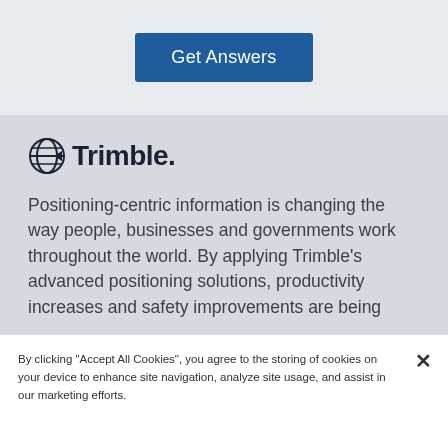[Figure (other): Blue 'Get Answers' button]
[Figure (logo): Trimble logo with globe icon and bold Trimble. text]
Positioning-centric information is changing the way people, businesses and governments work throughout the world. By applying Trimble's advanced positioning solutions, productivity increases and safety improvements are being
By clicking "Accept All Cookies", you agree to the storing of cookies on your device to enhance site navigation, analyze site usage, and assist in our marketing efforts.
[Figure (other): Cookies Settings button (outlined) and Accept All Cookies button (green)]